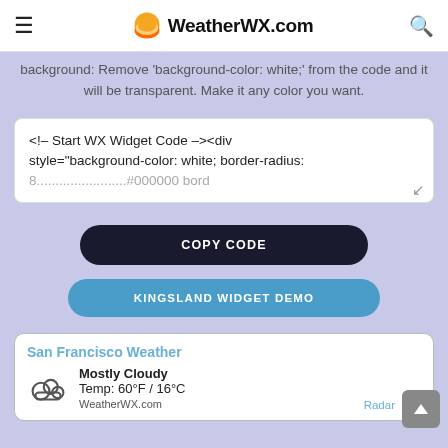WeatherWX.com
background: Remove 'background-color: white;' from the code and it will be transparent. Make it any color you want.
<!-- Start WX Widget Code --><div style="background-color: white; border-radius: 8; width: 300; border: #000000; border...
COPY CODE
KINGSLAND WIDGET DEMO
San Francisco Weather
Mostly Cloudy
Temp: 60°F / 16°C
WeatherWX.com
Radar